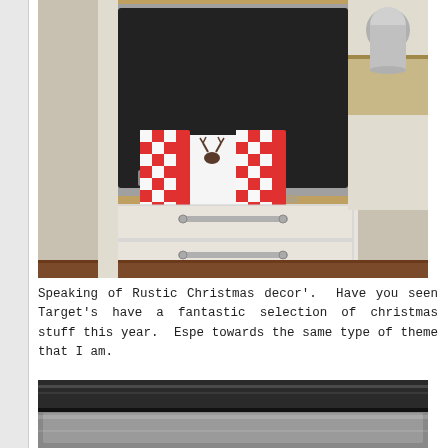[Figure (photo): Kitchen oven built into white cabinetry with red and white checkered dish towels hanging on the oven handle, with granite countertop visible on the right and hardwood floor below.]
Speaking of Rustic Christmas decor'.  Have you seen Target's have a fantastic selection of christmas stuff this year.  Espe towards the same type of theme that I am.
[Figure (photo): Close-up of a stainless steel oven door, partially visible at the bottom of the page.]